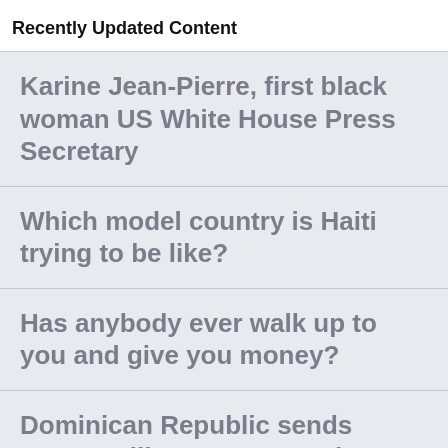Recently Updated Content
Karine Jean-Pierre, first black woman US White House Press Secretary
Which model country is Haiti trying to be like?
Has anybody ever walk up to you and give you money?
Dominican Republic sends 11,000 military troops to the